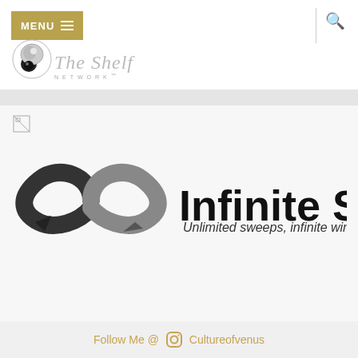[Figure (logo): The Shelf Network logo with stylized icon and text]
[Figure (logo): Broken/missing image placeholder icon]
[Figure (logo): Infinite Sweeps logo with infinity arrow symbol and tagline 'Unlimited sweeps, infinite winning!']
Follow Me @ Cultureofvenus